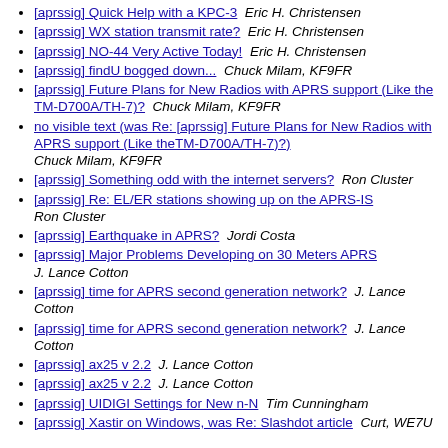[aprssig] Quick Help with a KPC-3   Eric H. Christensen
[aprssig] WX station transmit rate?   Eric H. Christensen
[aprssig] NO-44 Very Active Today!   Eric H. Christensen
[aprssig] findU bogged down...   Chuck Milam, KF9FR
[aprssig] Future Plans for New Radios with APRS support (Like the TM-D700A/TH-7)?   Chuck Milam, KF9FR
no visible text (was Re: [aprssig] Future Plans for New Radios with APRS support (Like theTM-D700A/TH-7)?)   Chuck Milam, KF9FR
[aprssig] Something odd with the internet servers?   Ron Cluster
[aprssig] Re: EL/ER stations showing up on the APRS-IS   Ron Cluster
[aprssig] Earthquake in APRS?   Jordi Costa
[aprssig] Major Problems Developing on 30 Meters APRS   J. Lance Cotton
[aprssig] time for APRS second generation network?   J. Lance Cotton
[aprssig] time for APRS second generation network?   J. Lance Cotton
[aprssig] ax25 v 2.2   J. Lance Cotton
[aprssig] ax25 v 2.2   J. Lance Cotton
[aprssig] UIDIGI Settings for New n-N   Tim Cunningham
[aprssig] Xastir on Windows, was Re: Slashdot article   Curt, WE7U